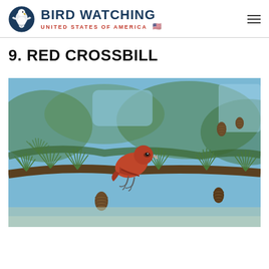BIRD WATCHING UNITED STATES OF AMERICA
9. RED CROSSBILL
[Figure (photo): A red crossbill bird perched on a conifer branch with pine cones, photographed outdoors with green foliage and blue sky in the background.]